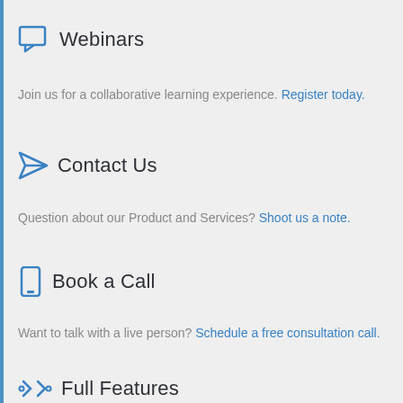Webinars
Join us for a collaborative learning experience. Register today.
Contact Us
Question about our Product and Services? Shoot us a note.
Book a Call
Want to talk with a live person? Schedule a free consultation call.
Full Features